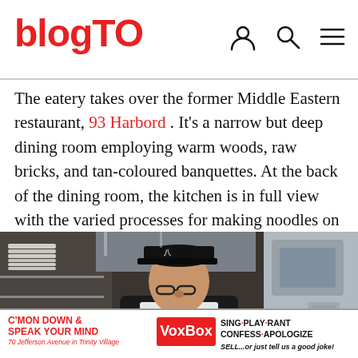blogTO
The eatery takes over the former Middle Eastern restaurant, 93 Harbord . It's a narrow but deep dining room employing warm woods, raw bricks, and tan-coloured banquettes. At the back of the dining room, the kitchen is in full view with the varied processes for making noodles on display.
[Figure (photo): A chef wearing a black cap and glasses and white apron works in a commercial kitchen, surrounded by stainless steel equipment and stacked plates.]
[Figure (infographic): VoxBox advertisement banner: 'C'MON DOWN & SPEAK YOUR MIND' with VoxBox logo, '70 Jefferson Avenue in Trinity Bellwoods', and text 'SING · PLAY · RANT CONFESS · APOLOGIZE SELL...or just tell us a good joke!']